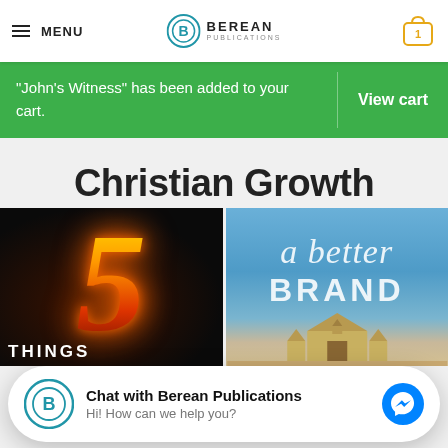MENU | Berean Publications | Cart: 1
"John's Witness" has been added to your cart.
View cart
Christian Growth
[Figure (photo): Book cover with a fiery number 5 on dark background, text THINGS at the bottom]
[Figure (photo): Book cover with blue sky background, text 'a better BRAND' in white, church at bottom]
Chat with Berean Publications
Hi! How can we help you?